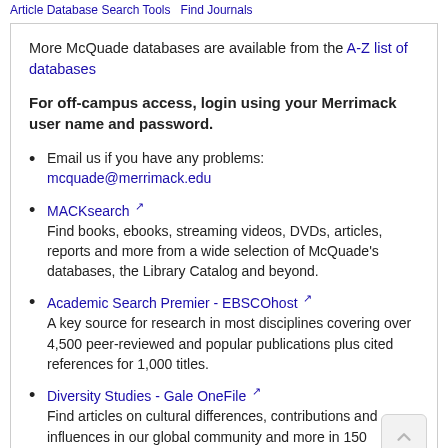Article Database Search Tools   Find Journals
More McQuade databases are available from the A-Z list of databases
For off-campus access, login using your Merrimack user name and password.
Email us if you have any problems: mcquade@merrimack.edu
MACKsearch [external link]
Find books, ebooks, streaming videos, DVDs, articles, reports and more from a wide selection of McQuade's databases, the Library Catalog and beyond.
Academic Search Premier - EBSCOhost [external link]
A key source for research in most disciplines covering over 4,500 peer-reviewed and popular publications plus cited references for 1,000 titles.
Diversity Studies - Gale OneFile [external link]
Find articles on cultural differences, contributions and influences in our global community and more in 150 journals. A subset of